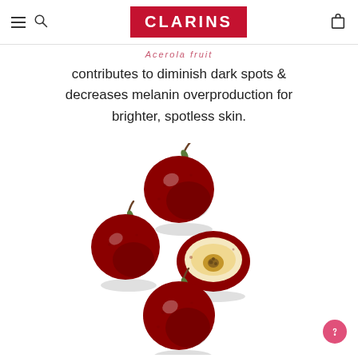CLARINS
Acerola fruit
contributes to diminish dark spots & decreases melanin overproduction for brighter, spotless skin.
[Figure (photo): Four acerola fruits on white background — three whole red fruits and one cut in half showing yellow-white interior flesh and seed]